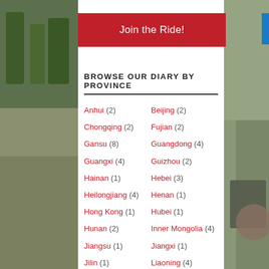[Figure (photo): Left background photo showing trees/greenery and road]
[Figure (photo): Right background photo showing mountain scenery and motorcycle]
Join the Ride!
BROWSE OUR DIARY BY PROVINCE
Anhui (2)
Beijing (2)
Chongqing (2)
Fujian (2)
Gansu (8)
Guangdong (4)
Guangxi (4)
Guizhou (2)
Hainan (1)
Hebei (3)
Heilongjiang (4)
Henan (1)
Hong Kong (1)
Hubei (1)
Hunan (2)
Inner Mongolia (4)
Jiangsu (1)
Jiangxi (1)
Jilin (1)
Liaoning (4)
Macau (1)
Ningxia (4)